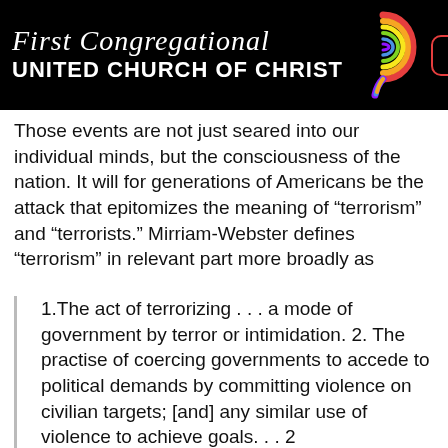First Congregational UNITED CHURCH OF CHRIST
Those events are not just seared into our individual minds, but the consciousness of the nation. It will for generations of Americans be the attack that epitomizes the meaning of “terrorism” and “terrorists.” Mirriam-Webster defines “terrorism” in relevant part more broadly as
1.The act of terrorizing . . . a mode of government by terror or intimidation. 2. The practise of coercing governments to accede to political demands by committing violence on civilian targets; [and] any similar use of violence to achieve goals. . . 2